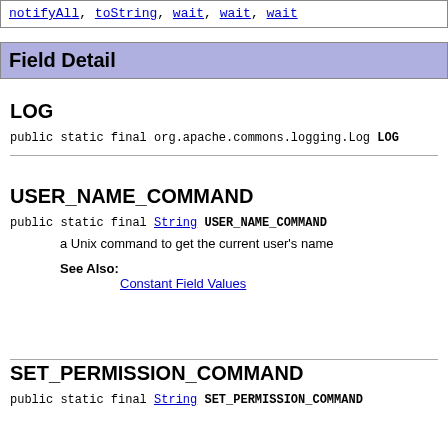notifyAll, toString, wait, wait, wait
Field Detail
LOG
public static final org.apache.commons.logging.Log LOG
USER_NAME_COMMAND
public static final String USER_NAME_COMMAND
a Unix command to get the current user's name
See Also: Constant Field Values
SET_PERMISSION_COMMAND
public static final String SET_PERMISSION_COMMAND